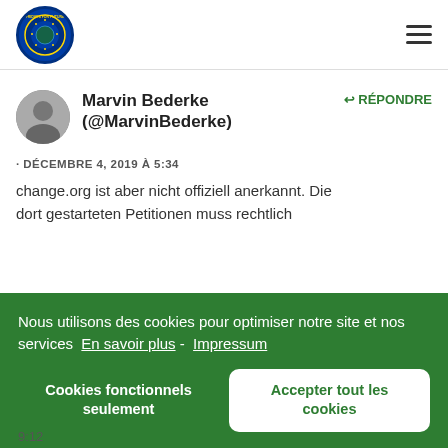Fridays for Future (logo) + hamburger menu
Marvin Bederke (@MarvinBederke)
· DÉCEMBRE 4, 2019 À 5:34
change.org ist aber nicht offiziell anerkannt. Die dort gestarteten Petitionen muss rechtlich
Nous utilisons des cookies pour optimiser notre site et nos services  En savoir plus -  Impressum
Cookies fonctionnels seulement
Accepter tout les cookies
9:12